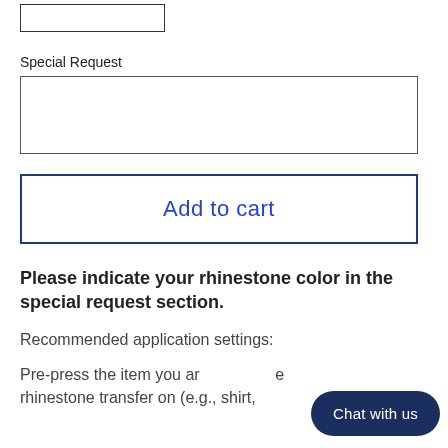[Figure (screenshot): A small input text box with a border at the top of the page]
Special Request
[Figure (screenshot): A large textarea input box for special requests]
Add to cart
Please indicate your rhinestone color in the special request section.
Recommended application settings:
Pre-press the item you are applying the rhinestone transfer on (e.g., shirt,
[Figure (screenshot): Chat with us button overlay in bottom right corner]